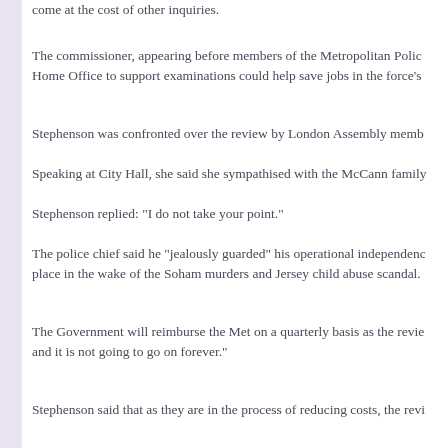come at the cost of other inquiries.
The commissioner, appearing before members of the Metropolitan Police Home Office to support examinations could help save jobs in the force's
Stephenson was confronted over the review by London Assembly memb
Speaking at City Hall, she said she sympathised with the McCann family
Stephenson replied: "I do not take your point."
The police chief said he "jealously guarded" his operational independence place in the wake of the Soham murders and Jersey child abuse scandal.
The Government will reimburse the Met on a quarterly basis as the revie and it is not going to go on forever."
Stephenson said that as they are in the process of reducing costs, the revi some skilled people".
Speaking later, Jones, of the Green Party, said she was angered by the co just not convinced by the commissioner saying that he has extra resource will not have unfairly lost justice as a result."
Critics claim the decision has undermined the force’s independence and
But Stephenson said earlier this week that it was "the right thing to do".
"We are not putting any limits on it at this moment in time... We have